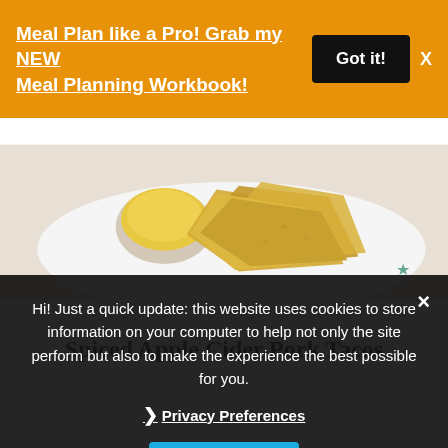Meal Plan like a Pro! Grab my NEW Meal Planning Workbook!
[Figure (photo): Close-up photo of tortilla chips on a white plate with a bowl of yellow dipping sauce]
Spiced Apple Cider Pork Tacos
Hi! Just a quick update: this website uses cookies to store information on your computer to help not only the site perform but also to make the experience the best possible for you.
❯ Privacy Preferences
I Agree